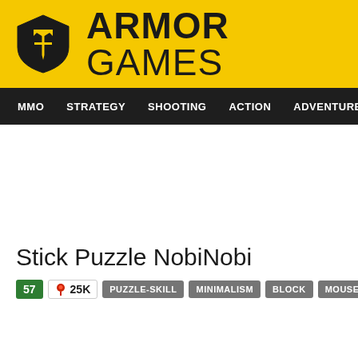ARMOR GAMES
MMO  STRATEGY  SHOOTING  ACTION  ADVENTURE  P
Stick Puzzle NobiNobi
57  25K  PUZZLE-SKILL  MINIMALISM  BLOCK  MOUSE ONLY  HTML